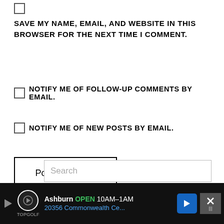SAVE MY NAME, EMAIL, AND WEBSITE IN THIS BROWSER FOR THE NEXT TIME I COMMENT.
NOTIFY ME OF FOLLOW-UP COMMENTS BY EMAIL.
NOTIFY ME OF NEW POSTS BY EMAIL.
Post Comment
SEARCH THE SITE
Search
[Figure (screenshot): Advertisement bar at bottom: Ashburn OPEN 10AM-1AM, 20356 Commonwealth Ce..., TopGolf logo, with close button and navigation arrow]
[Figure (infographic): Social sidebar with heart icon (teal circle), count 3, and share icon (teal circle)]